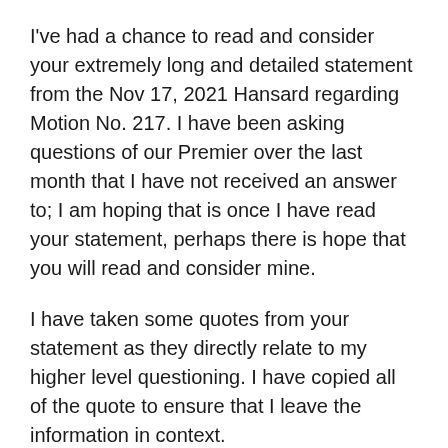I've had a chance to read and consider your extremely long and detailed statement from the Nov 17, 2021 Hansard regarding Motion No. 217. I have been asking questions of our Premier over the last month that I have not received an answer to; I am hoping that is once I have read your statement, perhaps there is hope that you will read and consider mine.
I have taken some quotes from your statement as they directly relate to my higher level questioning. I have copied all of the quote to ensure that I leave the information in context.
As the burden of proof lies with our government, I'd appreciate your answers to my questions as they relate